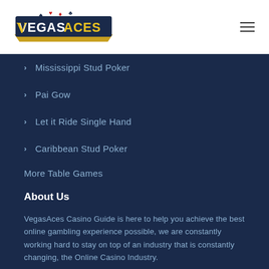VegasAces logo and hamburger menu
Mississippi Stud Poker
Pai Gow
Let it Ride Single Hand
Caribbean Stud Poker
More Table Games
About Us
VegasAces Casino Guide is here to help you achieve the best online gambling experience possible, we are constantly working hard to stay on top of an industry that is constantly changing, the Online Casino Industry.